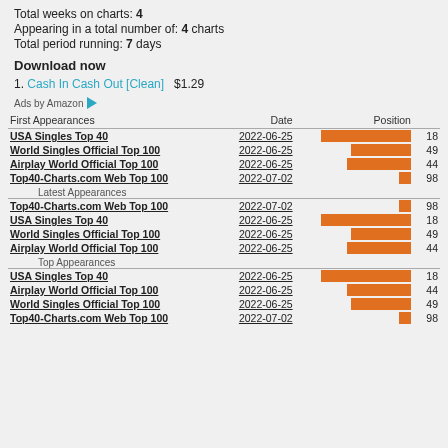Total weeks on charts: 4
Appearing in a total number of: 4 charts
Total period running: 7 days
Download now
1. Cash In Cash Out [Clean]   $1.29
Ads by Amazon
| First Appearances | Date | Position |
| --- | --- | --- |
| USA Singles Top 40 | 2022-06-25 | 18 |
| World Singles Official Top 100 | 2022-06-25 | 49 |
| Airplay World Official Top 100 | 2022-06-25 | 44 |
| Top40-Charts.com Web Top 100 | 2022-07-02 | 98 |
| Latest Appearances |  |  |
| Top40-Charts.com Web Top 100 | 2022-07-02 | 98 |
| USA Singles Top 40 | 2022-06-25 | 18 |
| World Singles Official Top 100 | 2022-06-25 | 49 |
| Airplay World Official Top 100 | 2022-06-25 | 44 |
| Top Appearances |  |  |
| USA Singles Top 40 | 2022-06-25 | 18 |
| Airplay World Official Top 100 | 2022-06-25 | 44 |
| World Singles Official Top 100 | 2022-06-25 | 49 |
| Top40-Charts.com Web Top 100 | 2022-07-02 | 98 |